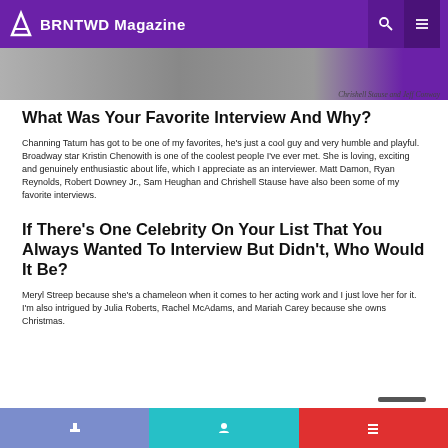BRNTWD Magazine
Chrishell Stause and Jeff Conway
What Was Your Favorite Interview And Why?
Channing Tatum has got to be one of my favorites, he's just a cool guy and very humble and playful. Broadway star Kristin Chenowith is one of the coolest people I've ever met. She is loving, exciting and genuinely enthusiastic about life, which I appreciate as an interviewer. Matt Damon, Ryan Reynolds, Robert Downey Jr., Sam Heughan and Chrishell Stause have also been some of my favorite interviews.
If There's One Celebrity On Your List That You Always Wanted To Interview But Didn't, Who Would It Be?
Meryl Streep because she's a chameleon when it comes to her acting work and I just love her for it. I'm also intrigued by Julia Roberts, Rachel McAdams, and Mariah Carey because she owns Christmas.